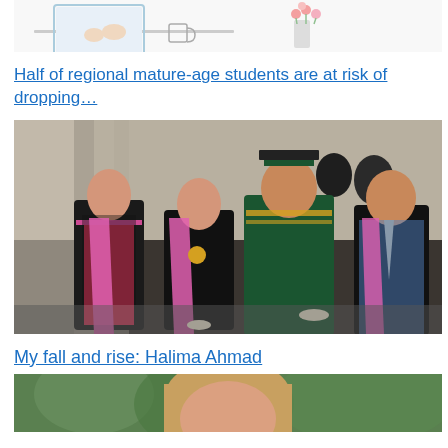[Figure (illustration): Partial illustration showing a person at a desk with a laptop, a cup, and flowers in a vase — top portion of image cropped]
Half of regional mature-age students are at risk of dropping…
[Figure (photo): Graduation ceremony photo showing multiple people in academic regalia including black gowns and colourful stoles, with a prominent figure in green and gold ceremonial robes]
My fall and rise: Halima Ahmad
[Figure (photo): Portrait of a young woman outdoors with trees in the background — partially cropped at bottom of page]